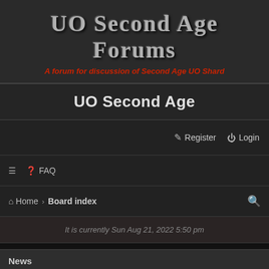UO Second Age Forums
A forum for discussion of Second Age UO Shard
UO Second Age
Register   Login
≡   FAQ
Home › Board index
It is currently Sun Aug 21, 2022 5:50 pm
News
Shard News
News and Announcements